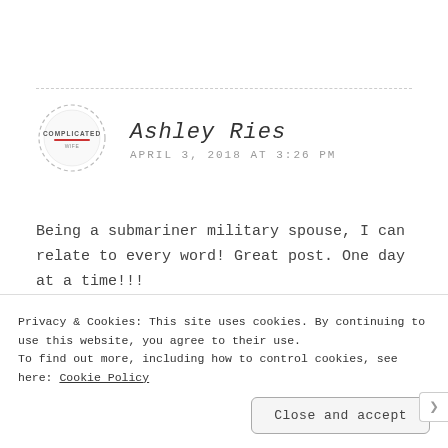[Figure (logo): Circular dashed border avatar with 'COMPLICATED' text in center, red accent]
Ashley Ries
APRIL 3, 2018 AT 3:26 PM
Being a submariner military spouse, I can relate to every word! Great post. One day at a time!!!
Privacy & Cookies: This site uses cookies. By continuing to use this website, you agree to their use. To find out more, including how to control cookies, see here: Cookie Policy
Close and accept